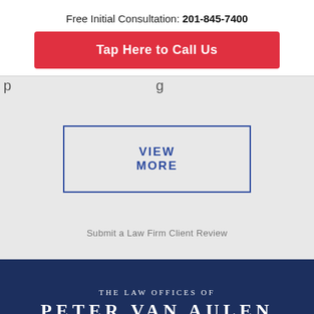Free Initial Consultation: 201-845-7400
Tap Here to Call Us
VIEW MORE
Submit a Law Firm Client Review
THE LAW OFFICES OF PETER VAN AULEN